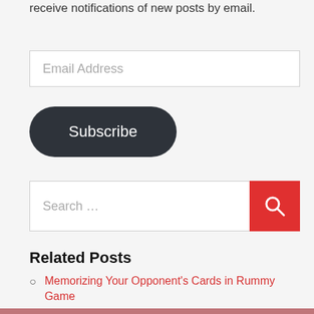receive notifications of new posts by email.
Email Address
Subscribe
Search ...
Related Posts
Memorizing Your Opponent's Cards in Rummy Game
5 Common Mistakes to Avoid in a Rummy Game
5 Reasons Why You Are Not Winning an Online